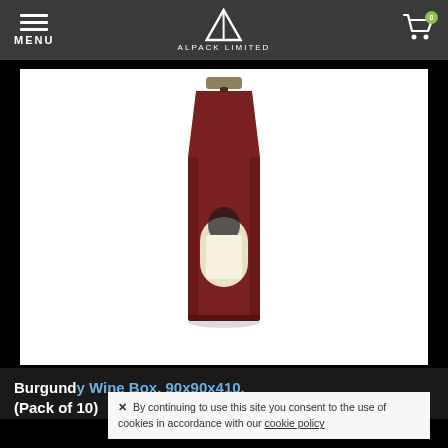MENU | ALPACK LIMITED | Cart 0
[Figure (photo): A burgundy/red wine bottle carrier box with a window cutout showing a wine bottle inside, and a fabric handle at the top, displayed on white background]
Burgundy Wine Box. 90x90x410. (Pack of 10)
× By continuing to use this site you consent to the use of cookies in accordance with our cookie policy